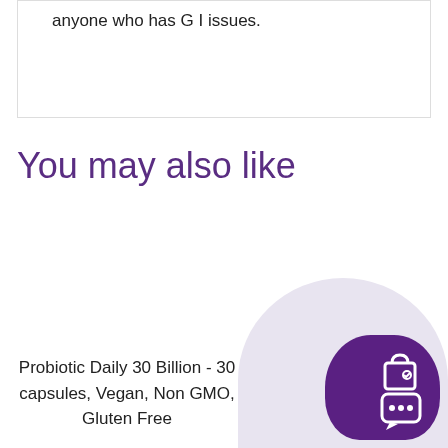anyone who has G I issues.
You may also like
Probiotic Daily 30 Billion - 30 capsules, Vegan, Non GMO, Gluten Free
Probiotic Daily Plus by Br... Bath Wellness
[Figure (other): E-commerce chat and shopping widget overlay with purple cloud icon containing bag and chat bubble icons]